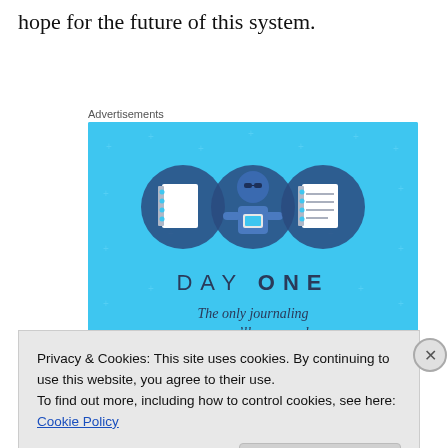hope for the future of this system.
Advertisements
[Figure (illustration): Day One journaling app advertisement. Blue background with small plus/star sparkles. Center top: three circular icons showing a blank notebook, a person holding a phone, and a lined notebook. Below: text 'DAY ONE' in spaced capitals, then 'The only journaling app you’ll ever need.' A dark button bar appears at the bottom.]
Privacy & Cookies: This site uses cookies. By continuing to use this website, you agree to their use.
To find out more, including how to control cookies, see here: Cookie Policy
Close and accept